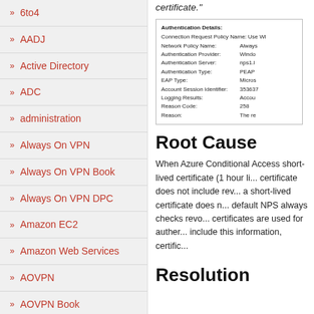6to4
AADJ
Active Directory
ADC
administration
Always On VPN
Always On VPN Book
Always On VPN DPC
Amazon EC2
Amazon Web Services
AOVPN
AOVPN Book
AovpnDPC
certificate."
[Figure (screenshot): Authentication Details panel showing Connection Request Policy Name: Use Wi..., Network Policy Name: Always..., Authentication Provider: Windo..., Authentication Server: nps1.l..., Authentication Type: PEAP..., EAP Type: Micros..., Account Session Identifier: 353637..., Logging Results: Accou..., Reason Code: 258, Reason: The re...]
Root Cause
When Azure Conditional Access short-lived certificate (1 hour li... certificate does not include rev... a short-lived certificate does n... default NPS always checks revo... certificates are used for auther... include this information, certific...
Resolution